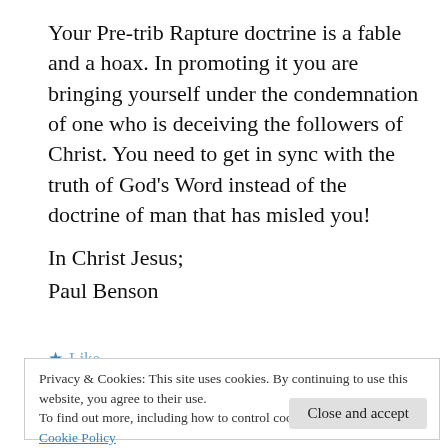Your Pre-trib Rapture doctrine is a fable and a hoax. In promoting it you are bringing yourself under the condemnation of one who is deceiving the followers of Christ. You need to get in sync with the truth of God’s Word instead of the doctrine of man that has misled you!
In Christ Jesus;
Paul Benson
Privacy & Cookies: This site uses cookies. By continuing to use this website, you agree to their use.
To find out more, including how to control cookies, see here: Cookie Policy
Close and accept